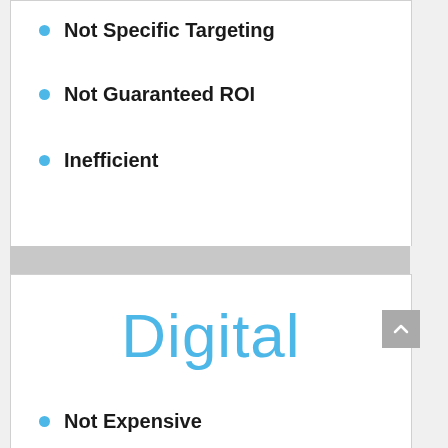Not Specific Targeting
Not Guaranteed ROI
Inefficient
Digital
Not Expensive
Global Reach